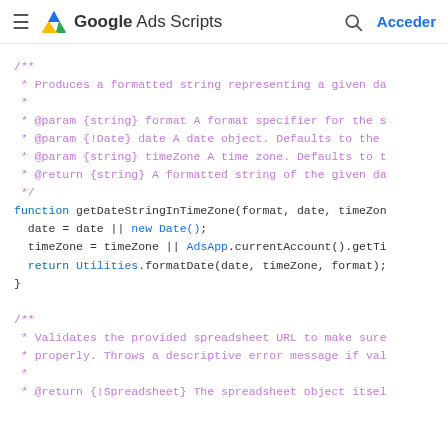Google Ads Scripts — Acceder
/** * Produces a formatted string representing a given da * * @param {string} format A format specifier for the s * @param {!Date} date A date object. Defaults to the * @param {string} timeZone A time zone. Defaults to t * @return {string} A formatted string of the given da */
function getDateStringInTimeZone(format, date, timeZon
  date = date || new Date();
  timeZone = timeZone || AdsApp.currentAccount().getTi
  return Utilities.formatDate(date, timeZone, format);
}

/**
 * Validates the provided spreadsheet URL to make sure
 * properly. Throws a descriptive error message if val
 *
 * @return {!Spreadsheet} The spreadsheet object itsel